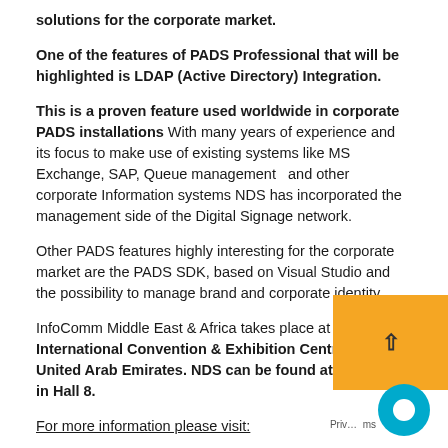solutions for the corporate market.
One of the features of PADS Professional that will be highlighted is LDAP (Active Directory) Integration.
This is a proven feature used worldwide in corporate PADS installations With many years of experience and its focus to make use of existing systems like MS Exchange, SAP, Queue management  and other corporate Information systems NDS has incorporated the management side of the Digital Signage network.
Other PADS features highly interesting for the corporate market are the PADS SDK, based on Visual Studio and the possibility to manage brand and corporate identity.
InfoComm Middle East & Africa takes place at the Dubai International Convention & Exhibition Centre in Dubai, United Arab Emirates. NDS can be found at booth C8... in Hall 8.
For more information please visit: